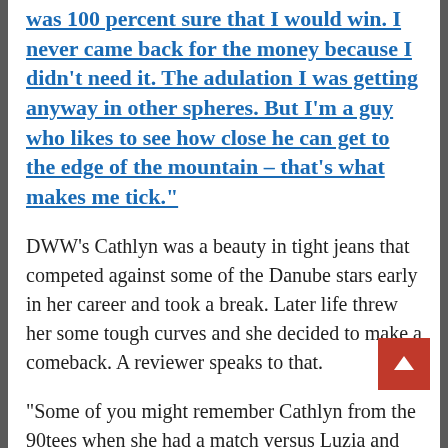was 100 percent sure that I would win. I never came back for the money because I didn't need it. The adulation I was getting anyway in other spheres. But I'm a guy who likes to see how close he can get to the edge of the mountain – that's what makes me tick.
DWW's Cathlyn was a beauty in tight jeans that competed against some of the Danube stars early in her career and took a break. Later life threw her some tough curves and she decided to make a comeback. A reviewer speaks to that.
“Some of you might remember Cathlyn from the 90tees when she had a match versus Luzia and Eva in jeans. Having been away and married for almost a decade, she's now back on the DWW mats. Nowadays as a beautiful 27 years old woman, and well-built with a voluptuous body built almost